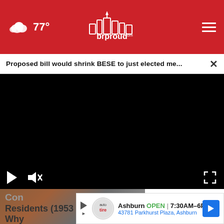brproud.com — 77° weather, navigation logo and hamburger menu
Proposed bill would shrink BESE to just elected me...
[Figure (screenshot): Black video player with play and mute controls at bottom left, fullscreen icon at bottom right]
[Figure (photo): Partial photo visible below video player]
Con... / Residents (1953-1987). See Why
[Figure (screenshot): Tire Auto advertisement: Ashburn OPEN 7:30AM-6PM, 43781 Parkhurst Plaza, Ashburn with blue arrow icon]